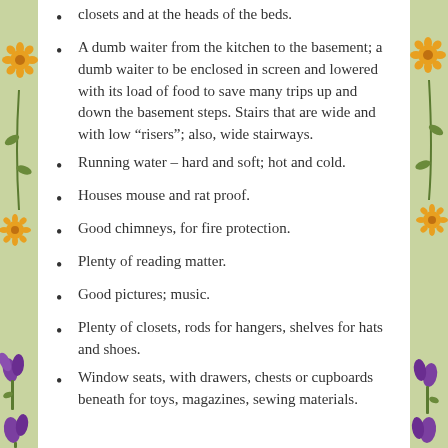closets and at the heads of the beds.
A dumb waiter from the kitchen to the basement; a dumb waiter to be enclosed in screen and lowered with its load of food to save many trips up and down the basement steps. Stairs that are wide and with low "risers"; also, wide stairways.
Running water – hard and soft; hot and cold.
Houses mouse and rat proof.
Good chimneys, for fire protection.
Plenty of reading matter.
Good pictures; music.
Plenty of closets, rods for hangers, shelves for hats and shoes.
Window seats, with drawers, chests or cupboards beneath for toys, magazines, sewing materials.